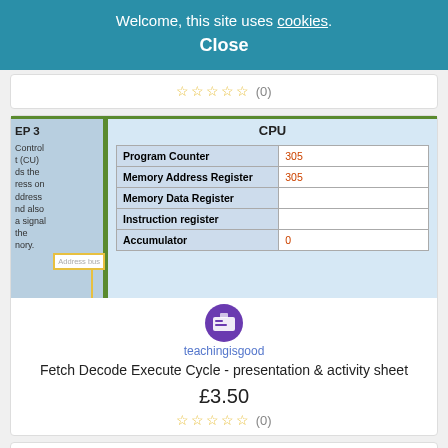Welcome, this site uses cookies. Close
☆☆☆☆☆ (0)
[Figure (screenshot): CPU architecture diagram showing CPU registers table with Program Counter=305, Memory Address Register=305, Memory Data Register (empty), Instruction register (empty), Accumulator=0, with address bus on the left side labeled EP 3 with Control Unit text.]
teachingisgood
Fetch Decode Execute Cycle - presentation & activity sheet
£3.50
☆☆☆☆☆ (0)
Bundle